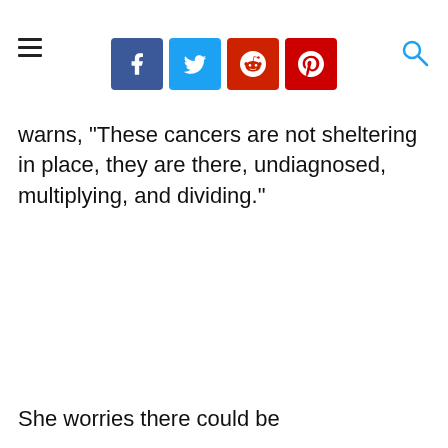Social share icons: Facebook, Twitter, Reddit, Pinterest; hamburger menu; search icon
warns, "These cancers are not sheltering in place, they are there, undiagnosed, multiplying, and dividing."
She worries there could be